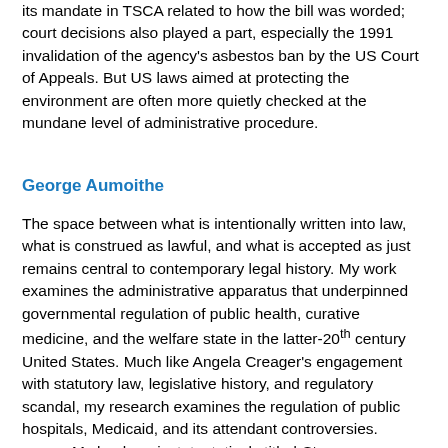its mandate in TSCA related to how the bill was worded; court decisions also played a part, especially the 1991 invalidation of the agency's asbestos ban by the US Court of Appeals. But US laws aimed at protecting the environment are often more quietly checked at the mundane level of administrative procedure.
George Aumoithe
The space between what is intentionally written into law, what is construed as lawful, and what is accepted as just remains central to contemporary legal history. My work examines the administrative apparatus that underpinned governmental regulation of public health, curative medicine, and the welfare state in the latter-20th century United States. Much like Angela Creager's engagement with statutory law, legislative history, and regulatory scandal, my research examines the regulation of public hospitals, Medicaid, and its attendant controversies.
My book project, tentatively titled Strange Bedfellows: Hospitals, Public Health, and Welfare Politics in the United